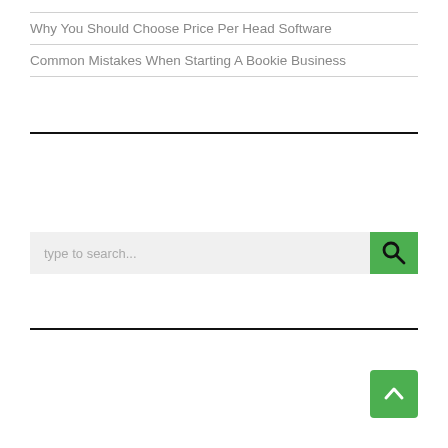Why You Should Choose Price Per Head Software
Common Mistakes When Starting A Bookie Business
[Figure (other): Search bar with placeholder text 'type to search...' and a green search button with a magnifying glass icon]
[Figure (other): Green scroll-to-top button with an upward caret/arrow icon]